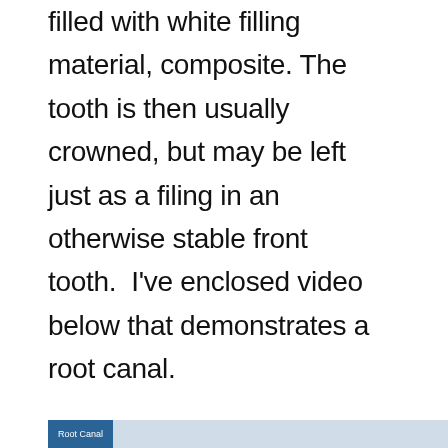filled with white filling material, composite. The tooth is then usually crowned, but may be left just as a filing in an otherwise stable front tooth.  I've enclosed video below that demonstrates a root canal.
Root Canal